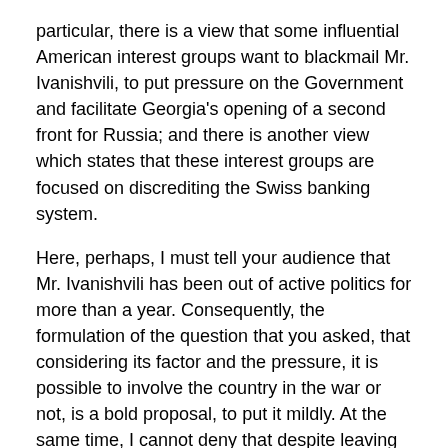particular, there is a view that some influential American interest groups want to blackmail Mr. Ivanishvili, to put pressure on the Government and facilitate Georgia's opening of a second front for Russia; and there is another view which states that these interest groups are focused on discrediting the Swiss banking system.
Here, perhaps, I must tell your audience that Mr. Ivanishvili has been out of active politics for more than a year. Consequently, the formulation of the question that you asked, that considering its factor and the pressure, it is possible to involve the country in the war or not, is a bold proposal, to put it mildly. At the same time, I cannot deny that despite leaving active politics, Mr. Ivanishvili's public position and priorities can undoubtedly be said to be greater than that taken by many active politicians.
Therefore, it is self-evident that his attitude towards this or that issue, his assessment of this or that issue, in many cases, is an important factor in the formation of public opinion in the country. This public opinion may even be